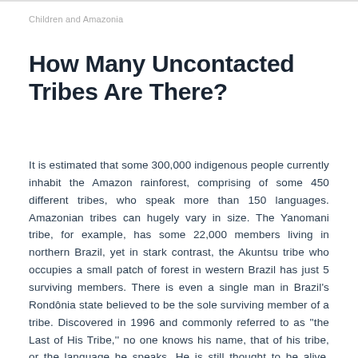Children and Amazonia
How Many Uncontacted Tribes Are There?
It is estimated that some 300,000 indigenous people currently inhabit the Amazon rainforest, comprising of some 450 different tribes, who speak more than 150 languages. Amazonian tribes can hugely vary in size. The Yanomani tribe, for example, has some 22,000 members living in northern Brazil, yet in stark contrast, the Akuntsu tribe who occupies a small patch of forest in western Brazil has just 5 surviving members. There is even a single man in Brazil's Rondônia state believed to be the sole surviving member of a tribe. Discovered in 1996 and commonly referred to as ''the Last of His Tribe,'' no one knows his name, that of his tribe, or the language he speaks. He is still thought to be alive, living a solitary life in a patch of forest, surrounded by cattle ranches.